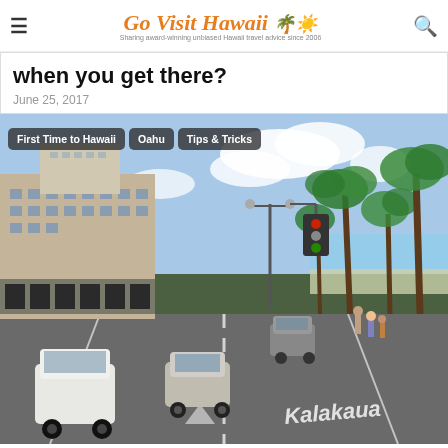Go Visit Hawaii — Sharing award-winning unbiased Hawaii travel advice since 2006
when you get there?
June 25, 2017
[Figure (photo): Street-level view of Kalakaua Avenue in Waikiki, Oahu, Hawaii — a wide road with palm trees on the right side, hotel buildings on the left, cars on the road, and beach visible in the background under a partly cloudy sky. Tags overlaid: 'First Time to Hawaii', 'Oahu', 'Tips & Tricks'. Street name 'Kalakaua' visible on pavement.]